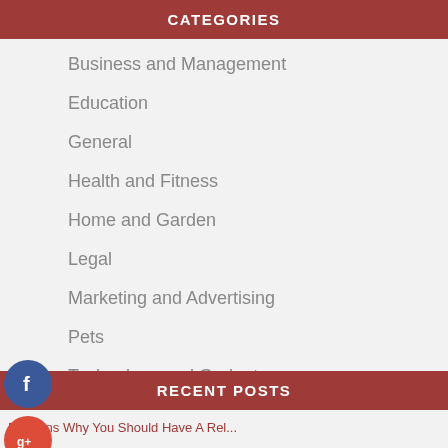CATEGORIES
Business and Management
Education
General
Health and Fitness
Home and Garden
Legal
Marketing and Advertising
Pets
Technology and Gadgets
Travel and Leisure
RECENT POSTS